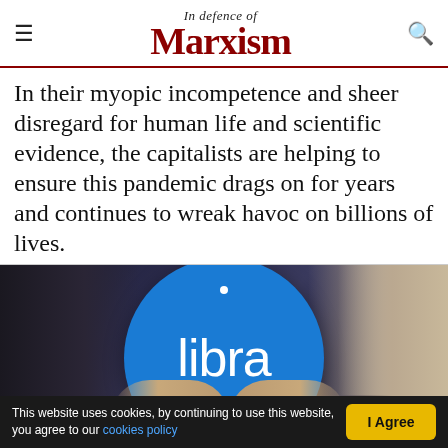In defence of Marxism
In their myopic incompetence and sheer disregard for human life and scientific evidence, the capitalists are helping to ensure this pandemic drags on for years and continues to wreak havoc on billions of lives.
[Figure (photo): Person in dark suit holding a large blue circle with the word 'libra' written in white, with a small white dot above the text.]
This website uses cookies, by continuing to use this website, you agree to our cookies policy  I Agree